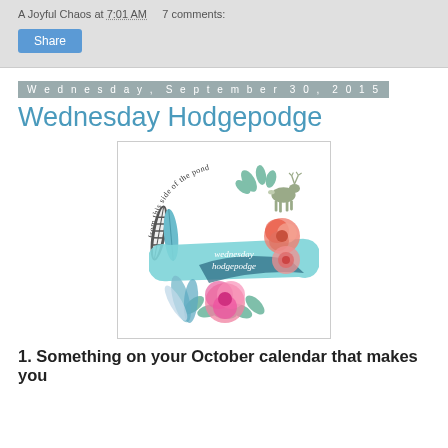A Joyful Chaos at 7:01 AM   7 comments:
Share
Wednesday, September 30, 2015
Wednesday Hodgepodge
[Figure (illustration): Wednesday Hodgepodge blog logo: a watercolor wreath of teal/mint feathers, leaves, pink and coral flowers, a deer silhouette, and a teal ribbon banner reading 'wednesday hodgepodge' in script. Above the wreath, arched text reads 'from this side of the pond'.]
1. Something on your October calendar that makes you